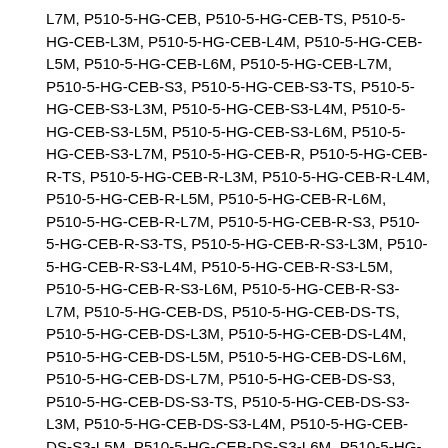L7M, P510-5-HG-CEB, P510-5-HG-CEB-TS, P510-5-HG-CEB-L3M, P510-5-HG-CEB-L4M, P510-5-HG-CEB-L5M, P510-5-HG-CEB-L6M, P510-5-HG-CEB-L7M, P510-5-HG-CEB-S3, P510-5-HG-CEB-S3-TS, P510-5-HG-CEB-S3-L3M, P510-5-HG-CEB-S3-L4M, P510-5-HG-CEB-S3-L5M, P510-5-HG-CEB-S3-L6M, P510-5-HG-CEB-S3-L7M, P510-5-HG-CEB-R, P510-5-HG-CEB-R-TS, P510-5-HG-CEB-R-L3M, P510-5-HG-CEB-R-L4M, P510-5-HG-CEB-R-L5M, P510-5-HG-CEB-R-L6M, P510-5-HG-CEB-R-L7M, P510-5-HG-CEB-R-S3, P510-5-HG-CEB-R-S3-TS, P510-5-HG-CEB-R-S3-L3M, P510-5-HG-CEB-R-S3-L4M, P510-5-HG-CEB-R-S3-L5M, P510-5-HG-CEB-R-S3-L6M, P510-5-HG-CEB-R-S3-L7M, P510-5-HG-CEB-DS, P510-5-HG-CEB-DS-TS, P510-5-HG-CEB-DS-L3M, P510-5-HG-CEB-DS-L4M, P510-5-HG-CEB-DS-L5M, P510-5-HG-CEB-DS-L6M, P510-5-HG-CEB-DS-L7M, P510-5-HG-CEB-DS-S3, P510-5-HG-CEB-DS-S3-TS, P510-5-HG-CEB-DS-S3-L3M, P510-5-HG-CEB-DS-S3-L4M, P510-5-HG-CEB-DS-S3-L5M, P510-5-HG-CEB-DS-S3-L6M, P510-5-HG-CEB-DS-S3-L7M, P510-5-HG-CEB-DS-R, P510-5-HG-CEB-DS-R-TS, P510-5-HG-CEB-DS-R-L3M, P510-5-HG-CEB-DS-R-L4M, P510-5-HG-CEB-DS-R-L5M, P510-5-HG-CEB-DS-R-L6M, P510-5-HG-CEB-DS-R-L7M, P510-5-HG-CEB-DS-R-S3, P510-5-HG-CEB-DS-R-S3-TS, P510-5-HG-CEB-DS-R-S3-L3M, P510-5-HG-CEB-DS-R-S3-L4M, P510-5-HG-CEB-DS-R-S3-L5M, P510-5-HG-CEB-DS-